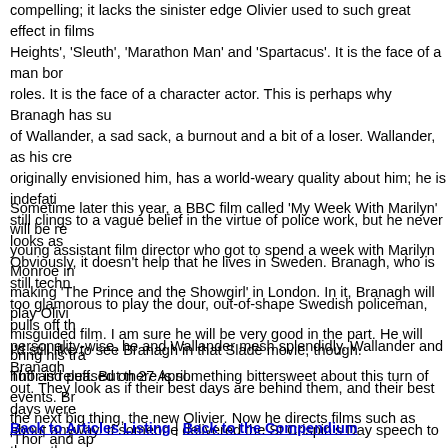compelling; it lacks the sinister edge Olivier used to such great effect in films Heights', 'Sleuth', 'Marathon Man' and 'Spartacus'. It is the face of a man bor roles. It is the face of a character actor. This is perhaps why Branagh has su of Wallander, a sad sack, a burnout and a bit of a loser. Wallander, as his cre originally envisioned him, has a world-weary quality about him; he is indefati still clings to a vague belief in the virtue of police work, but he never looks as Obviously, it doesn't help that he lives in Sweden. Branagh, who is still techn too glamorous to play the dour, out-of-shape Swedish policeman, pulls off th personality-wise, he and Wallander mesh splendidly. Wallander and Branagh out. They look as if their best days are behind them, and their best days were about anyway. If someone delivered the St Crispin's Day speech to them, the room and take the rest of the day off. They definitely wouldn't storm the walls Thor to do it.
Sometime later this year, a BBC film called 'My Week With Marilyn' will be re young assistant film director who got to spend a week with Marilyn Monroe in making 'The Prince and the Showgirl' in London. In it, Branagh will play Olivi misguided film. I am sure he will be very good in the part. He will bring his tra huff and puff. But there is something bittersweet about this turn of events. Br the next big thing, the new Olivier. Now he directs films such as 'Thor' and ap movies and stars in Nordic noir. Maybe it's time for Branagh to take on Macb beneath his talents. It's beneath anybody's talents.
I'd still like to see Branagh in that Slade movie, though.
Thor is released on 27 April.
Back to Articles Listing | Back to the Compendium